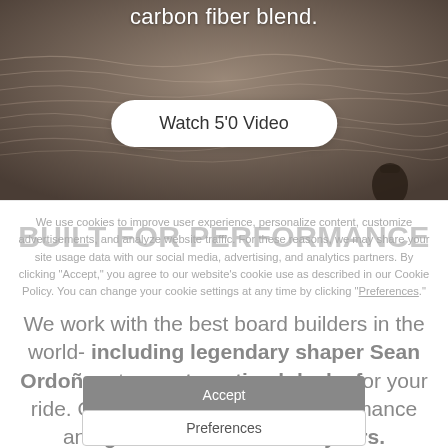carbon fiber blend.
[Figure (photo): Dark ocean water background with silhouette, used as hero section background]
Watch 5'0 Video
BUILT FOR PERFORMANCE
We use cookies to improve user experience, personalize content, customize advertisements, and analyze website traffic. For these reasons, we may share your site usage data with our social media, advertising, and analytics partners. By clicking "Accept," you agree to our website's cookie use as described in our Cookie Policy. You can change your cookie settings at any time by clicking "Preferences."
We work with the best board builders in the world- including legendary shaper Sean Ordoñez- to create optimal decks for your ride. Our boards are built for performance and guaranteed to last for years.
Accept
Preferences